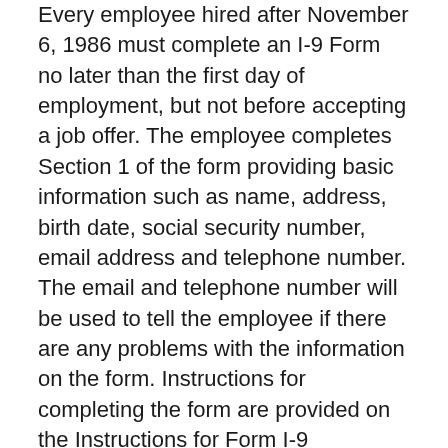Every employee hired after November 6, 1986 must complete an I-9 Form no later than the first day of employment, but not before accepting a job offer. The employee completes Section 1 of the form providing basic information such as name, address, birth date, social security number, email address and telephone number. The email and telephone number will be used to tell the employee if there are any problems with the information on the form. Instructions for completing the form are provided on the Instructions for Form I-9 Employment Eligibility Verification form available from the U.S. Citizenship and Immigration Services website.
The employer then completes Section 2 of the form within three days of the employee's first day. They must physically examine documents from the acceptable document list, which are identified on the form. The employer cannot specify which documents, that choice is for the employee to make, but they must present documents that demonstrate identity and employment authorization.